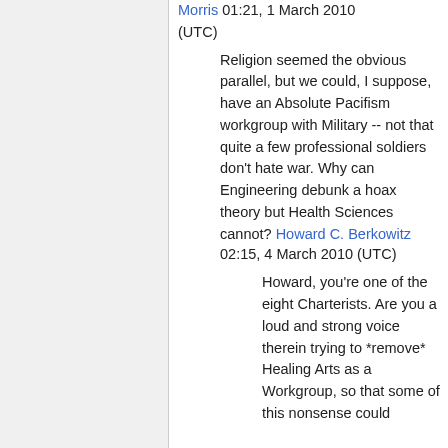Morris 01:21, 1 March 2010 (UTC)
Religion seemed the obvious parallel, but we could, I suppose, have an Absolute Pacifism workgroup with Military -- not that quite a few professional soldiers don't hate war. Why can Engineering debunk a hoax theory but Health Sciences cannot? Howard C. Berkowitz 02:15, 4 March 2010 (UTC)
Howard, you're one of the eight Charterists. Are you a loud and strong voice therein trying to *remove* Healing Arts as a Workgroup, so that some of this nonsense could